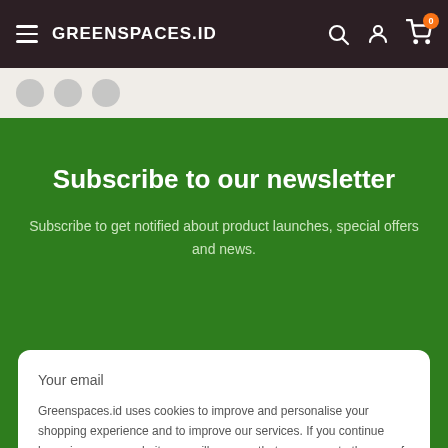GREENSPACES.ID
Subscribe to our newsletter
Subscribe to get notified about product launches, special offers and news.
Your email
Greenspaces.id uses cookies to improve and personalise your shopping experience and to improve our services. If you continue browsing on our website, we will assume that you agree to the use of such cookies.
Accept
Chat with us
100% free, Unsubscribe any time.